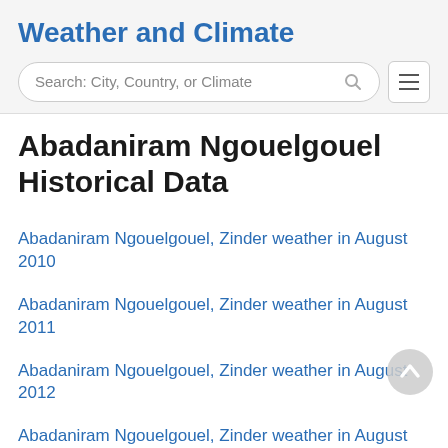Weather and Climate
Search: City, Country, or Climate
Abadaniram Ngouelgouel Historical Data
Abadaniram Ngouelgouel, Zinder weather in August 2010
Abadaniram Ngouelgouel, Zinder weather in August 2011
Abadaniram Ngouelgouel, Zinder weather in August 2012
Abadaniram Ngouelgouel, Zinder weather in August 2013
Abadaniram Ngouelgouel, Zinder weather in August ...